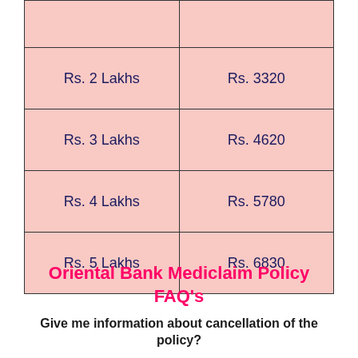| Sum Insured | Premium |
| --- | --- |
|  |  |
| Rs. 2 Lakhs | Rs. 3320 |
| Rs. 3 Lakhs | Rs. 4620 |
| Rs. 4 Lakhs | Rs. 5780 |
| Rs. 5 Lakhs | Rs. 6830 |
Oriental Bank Mediclaim Policy FAQ's
Give me information about cancellation of the policy?